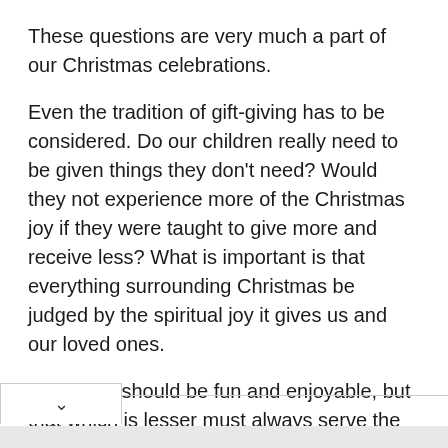These questions are very much a part of our Christmas celebrations.
Even the tradition of gift-giving has to be considered. Do our children really need to be given things they don't need? Would they not experience more of the Christmas joy if they were taught to give more and receive less? What is important is that everything surrounding Christmas be judged by the spiritual joy it gives us and our loved ones.
It can and should be fun and enjoyable, but that which is lesser must always serve the greater. Let us keep the Feast, not in the way of the pagans, but in a godly way.